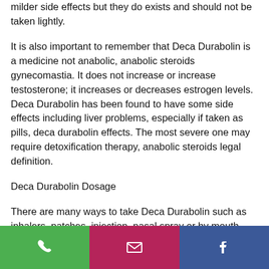milder side effects but they do exists and should not be taken lightly.
It is also important to remember that Deca Durabolin is a medicine not anabolic, anabolic steroids gynecomastia. It does not increase or increase testosterone; it increases or decreases estrogen levels. Deca Durabolin has been found to have some side effects including liver problems, especially if taken as pills, deca durabolin effects. The most severe one may require detoxification therapy, anabolic steroids legal definition.
Deca Durabolin Dosage
There are many ways to take Deca Durabolin such as inhalers, patches, injection, nasal spray or by mouth, anabolic…